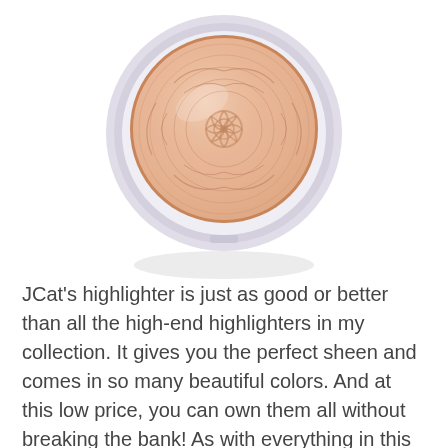[Figure (photo): A round compact powder highlighter with a white/light grey plastic casing. The pressed powder inside is a rose gold/champagne color with an embossed mandala-like floral pattern on its surface. The compact casts a soft reflection below it on the white background.]
JCat's highlighter is just as good or better than all the high-end highlighters in my collection. It gives you the perfect sheen and comes in so many beautiful colors. And at this low price, you can own them all without breaking the bank! As with everything in this post, use code DEBRA JENN